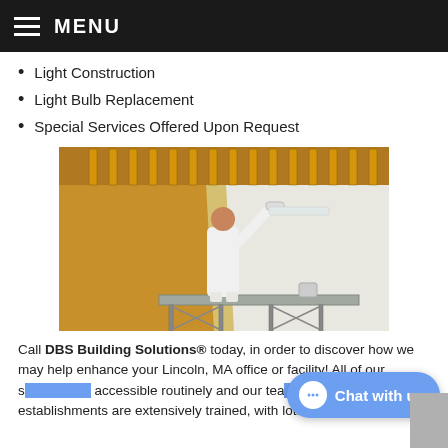MENU
Light Construction
Light Bulb Replacement
Special Services Offered Upon Request
[Figure (photo): A painter in white clothes standing on scaffolding painting a wall white, with a wooden slatted ceiling visible above.]
Call DBS Building Solutions® today, in order to discover how we may help enhance your Lincoln, MA office or facility! All of our s... accessible routinely and our tea... establishments are extensively trained, with lots